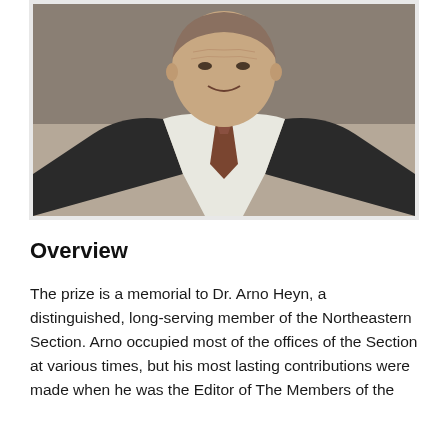[Figure (photo): Portrait photo of Dr. Arno Heyn, a man in a dark suit with a brown tie and white dress shirt, smiling slightly, photographed from the chest up against a neutral background.]
Overview
The prize is a memorial to Dr. Arno Heyn, a distinguished, long-serving member of the Northeastern Section. Arno occupied most of the offices of the Section at various times, but his most lasting contributions were made when he was the Editor of The Members of the